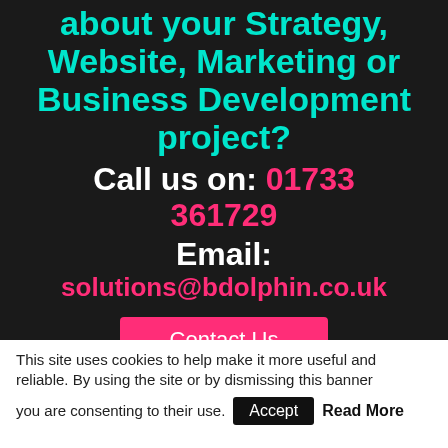about your Strategy, Website, Marketing or Business Development project?
Call us on: 01733 361729
Email: solutions@bdolphin.co.uk
Contact Us
This site uses cookies to help make it more useful and reliable. By using the site or by dismissing this banner you are consenting to their use. Accept Read More